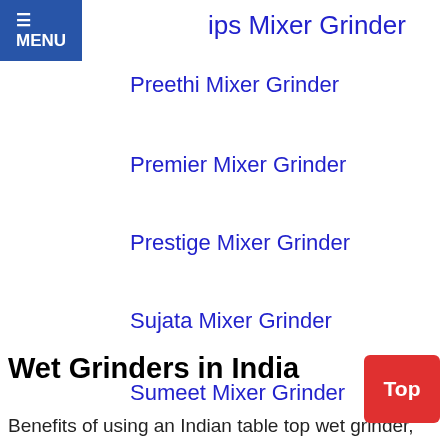≡ MENU
ips Mixer Grinder
Preethi Mixer Grinder
Premier Mixer Grinder
Prestige Mixer Grinder
Sujata Mixer Grinder
Sumeet Mixer Grinder
Ultra Mixer Grinder
Wet Grinders in India
Benefits of using an Indian table top wet grinder,